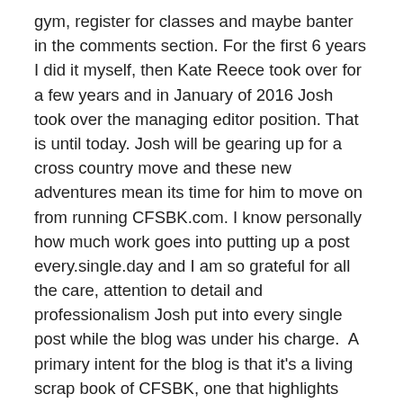gym, register for classes and maybe banter in the comments section. For the first 6 years I did it myself, then Kate Reece took over for a few years and in January of 2016 Josh took over the managing editor position. That is until today. Josh will be gearing up for a cross country move and these new adventures mean its time for him to move on from running CFSBK.com. I know personally how much work goes into putting up a post every.single.day and I am so grateful for all the care, attention to detail and professionalism Josh put into every single post while the blog was under his charge.  A primary intent for the blog is that it's a living scrap book of CFSBK, one that highlights members, catalogs our history and showcases our culture and community. Josh has done an amazing job telling our story over the past several years and we are sad to see him go but so grateful for all his hard work. During his time as managing editor, Josh composed over 1,600 daily blog entries, corrected countless grammatical errors of mine, sent out tons of newsletters and did an amazing job